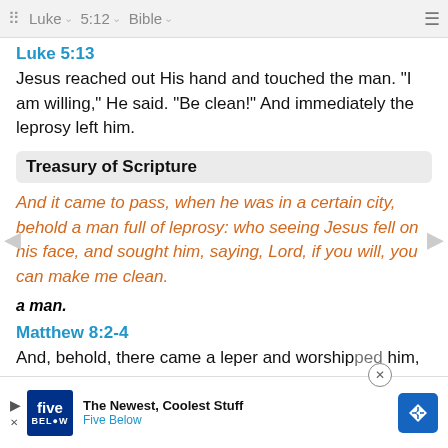Luke  5:12  Bible
Luke 5:13
Jesus reached out His hand and touched the man. "I am willing," He said. "Be clean!" And immediately the leprosy left him.
Treasury of Scripture
And it came to pass, when he was in a certain city, behold a man full of leprosy: who seeing Jesus fell on his face, and sought him, saying, Lord, if you will, you can make me clean.
a man.
Matthew 8:2-4
And, behold, there came a leper and worshipped him, s[...] me clean[...]